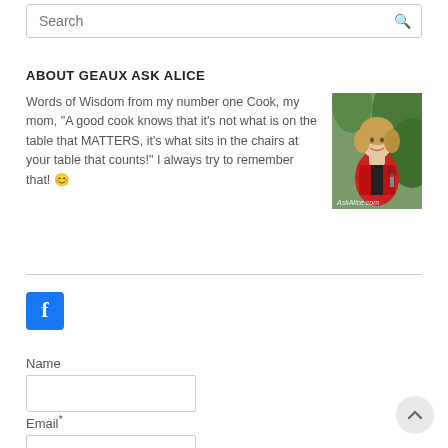Search
ABOUT GEAUX ASK ALICE
Words of Wisdom from my number one Cook, my mom, "A good cook knows that it's not what is on the table that MATTERS, it's what sits in the chairs at your table that counts!" I always try to remember that! 😊
[Figure (photo): Woman in red jacket holding a glass of wine, smiling, with greenery in background. Watermark reads AskAlice.com]
[Figure (logo): Facebook icon button - blue square with white lowercase f]
Name
Email*